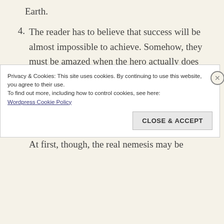Earth.
4. The reader has to believe that success will be almost impossible to achieve. Somehow, they must be amazed when the hero actually does come out on top. If not, then reviews may say that the story was predictable.
5. Readers follow the story, from beginning to end, through the eyes of both the hero and the enemy. At first, though, the real nemesis may be
Privacy & Cookies: This site uses cookies. By continuing to use this website, you agree to their use.
To find out more, including how to control cookies, see here: Wordpress Cookie Policy
CLOSE & ACCEPT